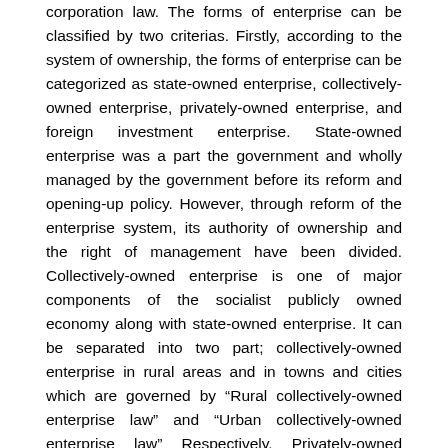corporation law. The forms of enterprise can be classified by two criterias. Firstly, according to the system of ownership, the forms of enterprise can be categorized as state-owned enterprise, collectively-owned enterprise, privately-owned enterprise, and foreign investment enterprise. State-owned enterprise was a part the government and wholly managed by the government before its reform and opening-up policy. However, through reform of the enterprise system, its authority of ownership and the right of management have been divided. Collectively-owned enterprise is one of major components of the socialist publicly owned economy along with state-owned enterprise. It can be separated into two part; collectively-owned enterprise in rural areas and in towns and cities which are governed by “Rural collectively-owned enterprise law” and “Urban collectively-owned enterprise law” Respectively. Privately-owned enterprises are individually-owned business and private enterprise. Foreign investment enterprise, with its rapid development, is growing enormously. Foreign investment enterprises are governed by “Sino-foreign joint equity venture law”, “Sino-foreign joint co-operative venture law” and “Solely foreign-invested enterprise law”. Secondly, based on investment and liabilities, they can be classified as sole proprietorship